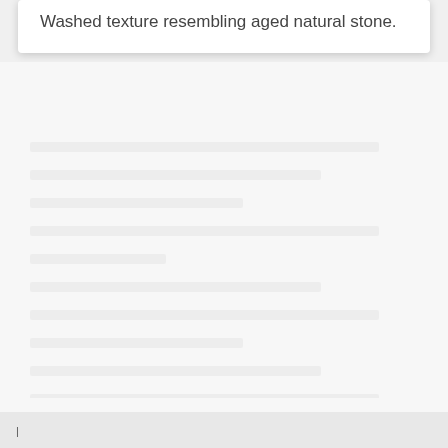Washed texture resembling aged natural stone.
|